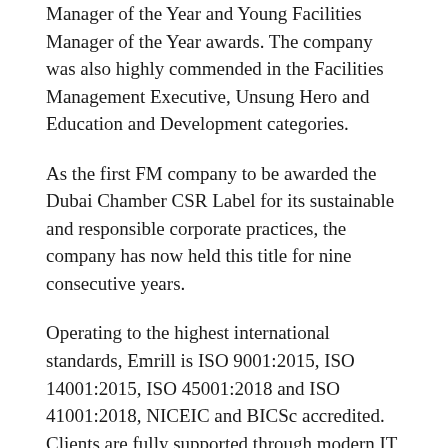Manager of the Year and Young Facilities Manager of the Year awards. The company was also highly commended in the Facilities Management Executive, Unsung Hero and Education and Development categories.
As the first FM company to be awarded the Dubai Chamber CSR Label for its sustainable and responsible corporate practices, the company has now held this title for nine consecutive years.
Operating to the highest international standards, Emrill is ISO 9001:2015, ISO 14001:2015, ISO 45001:2018 and ISO 41001:2018, NICEIC and BICSc accredited. Clients are fully supported through modern IT infrastructure, dedicated client managers and a 24-hour call centre, and also benefit from the newest technology, industry-leading techniques and latest equipment releases consistently delivered through Emrill's ongoing Innovation and Future Ready Programme.
To learn more, please visit www.emrill.com